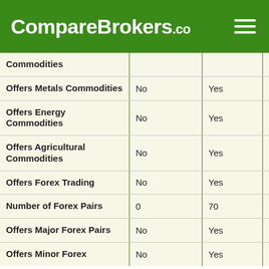CompareBrokers.co
| Feature | Broker 1 | Broker 2 | Broker 3 |
| --- | --- | --- | --- |
| Commodities |  |  |  |
| Offers Metals Commodities | No | Yes | Yes |
| Offers Energy Commodities | No | Yes | Yes |
| Offers Agricultural Commodities | No | Yes | Yes |
| Offers Forex Trading | No | Yes | Yes |
| Number of Forex Pairs | 0 | 70 | 50 |
| Offers Major Forex Pairs | No | Yes | Yes |
| Offers Minor Forex Pairs | No | Yes | Yes |